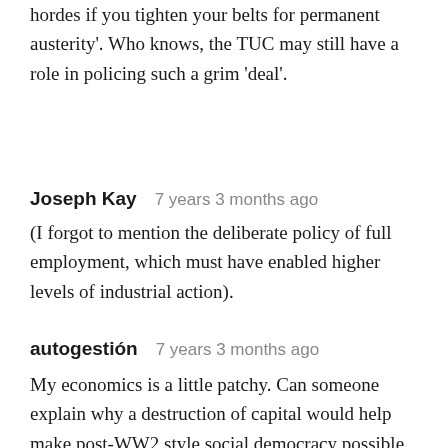hordes if you tighten your belts for permanent austerity'. Who knows, the TUC may still have a role in policing such a grim 'deal'.
Joseph Kay   7 years 3 months ago
(I forgot to mention the deliberate policy of full employment, which must have enabled higher levels of industrial action).
autogestión   7 years 3 months ago
My economics is a little patchy. Can someone explain why a destruction of capital would help make post-WW2 style social democracy possible again? Does this